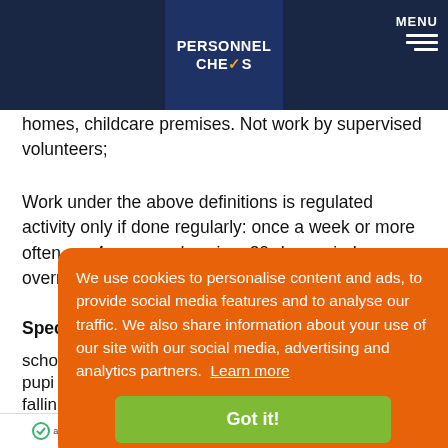PERSONNEL CHECKS | MENU
homes, childcare premises. Not work by supervised volunteers;
Work under the above definitions is regulated activity only if done regularly: once a week or more often, on 4 or more days in a 30-day period, or overnight*
Spec[ified places]
scho[ols...]
pupi[ls...]
fallin[g...]
nurs[eries...]
insti[tutions...]
child[ren's...]
We use cookies to personalise content and ads, to provide social media features and to analyse our traffic. We also share information about your use of our site with our social media, advertising and analytics partners. Learn more
Got it!
application processing | setup process | hidden fees